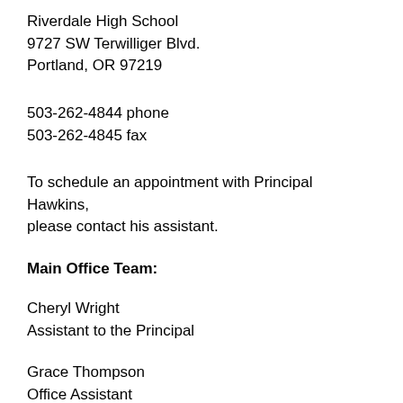Riverdale High School
9727 SW Terwilliger Blvd.
Portland, OR 97219
503-262-4844 phone
503-262-4845 fax
To schedule an appointment with Principal Hawkins, please contact his assistant.
Main Office Team:
Cheryl Wright
Assistant to the Principal
Grace Thompson
Office Assistant